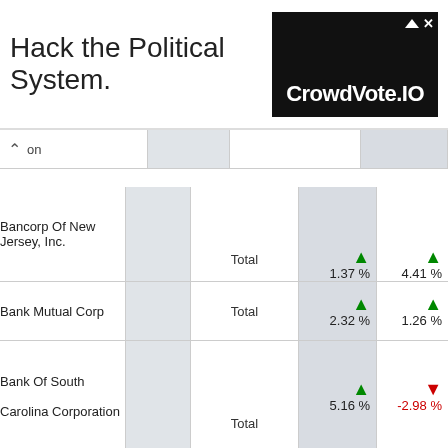Hack the Political System.
[Figure (logo): CrowdVote.IO advertisement banner, dark background with white text]
| Name |  | Total | Value 1 | Value 2 |
| --- | --- | --- | --- | --- |
| Bancorp Of New Jersey, Inc. |  | Total | ↑ 1.37 % | ↑ 4.41 % |
| Bank Mutual Corp |  | Total | ↑ 2.32 % | ↑ 1.26 % |
| Bank Of South Carolina Corporation |  | Total | ↑ 5.16 % | ↓ -2.98 % |
| Bankunited inc. |  | Total | ↑ 10.97 | ↑ 4.49 % |